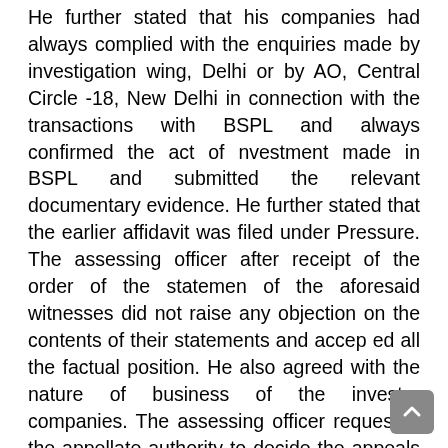He further stated that his companies had always complied with the enquiries made by investigation wing, Delhi or by AO, Central Circle -18, New Delhi in connection with the transactions with BSPL and always confirmed the act of nvestment made in BSPL and submitted the relevant documentary evidence. He further stated that the earlier affidavit was filed under Pressure. The assessing officer after receipt of the order of the statemen of the aforesaid witnesses did not raise any objection on the contents of their statements and accep ed all the factual position. He also agreed with the nature of business of the investor companies. The assessing officer requested the appellate authority to decide the appeals on merits of the case by ignoring the said statements. This has been recorded by the ITAT in para 26 of the order which reads as under :“26. After recording the statements of the said witnesses, the CIT(A) forwarded copies of all statements to the AO for his